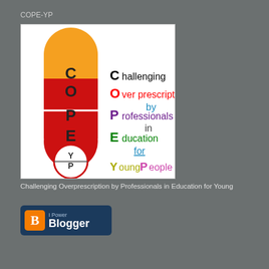COPE-YP
[Figure (logo): COPE-YP logo: a pill capsule with orange top half and red bottom half, each segment labeled C, O, P, E in dark text. Below is a circle divided in half showing Y over P. To the right, text reads: Challenging Overprescription by Professionals in Education for Young People, with each letter C, O, P, E, Y, P colored distinctly.]
Challenging Overprescription by Professionals in Education for Young
[Figure (logo): I Power Blogger badge with orange B icon on dark blue background]